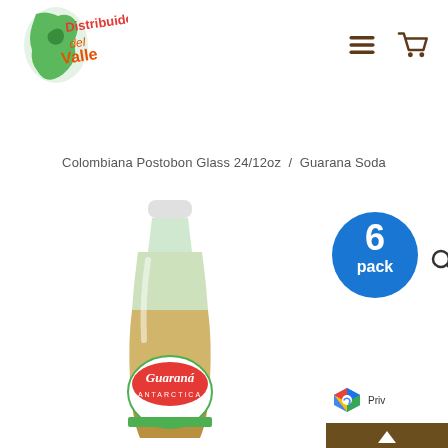[Figure (logo): Distribuidora del Valle logo with green Americas map silhouette and red/green/orange text]
[Figure (other): Navigation icons: hamburger menu and shopping cart in dark brown]
Colombiana Postobon Glass 24/12oz  /  Guarana Soda
[Figure (photo): Guarana Antarctica soda bottle with green label, amber/golden liquid]
[Figure (other): 6 pack blue circular badge overlay on product image]
[Figure (other): Privacy/cookie consent overlay in bottom right corner with reCAPTCHA logo]